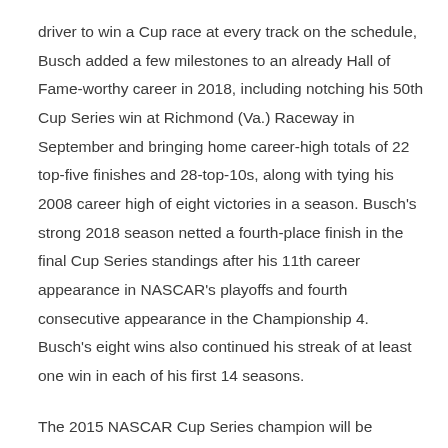driver to win a Cup race at every track on the schedule, Busch added a few milestones to an already Hall of Fame-worthy career in 2018, including notching his 50th Cup Series win at Richmond (Va.) Raceway in September and bringing home career-high totals of 22 top-five finishes and 28-top-10s, along with tying his 2008 career high of eight victories in a season. Busch's strong 2018 season netted a fourth-place finish in the final Cup Series standings after his 11th career appearance in NASCAR's playoffs and fourth consecutive appearance in the Championship 4. Busch's eight wins also continued his streak of at least one win in each of his first 14 seasons.
The 2015 NASCAR Cup Series champion will be sporting an M&M'S Chocolate Bar scheme on his No. 18 Toyota for NASCAR's season-opening race, as the new permanent addition to the brand's iconic candy lineup will be highlighted throughout Daytona Speedweeks. The